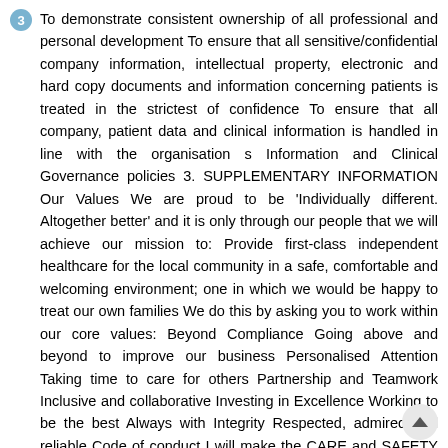3 To demonstrate consistent ownership of all professional and personal development To ensure that all sensitive/confidential company information, intellectual property, electronic and hard copy documents and information concerning patients is treated in the strictest of confidence To ensure that all company, patient data and clinical information is handled in line with the organisation s Information and Clinical Governance policies 3. SUPPLEMENTARY INFORMATION Our Values We are proud to be 'Individually different. Altogether better' and it is only through our people that we will achieve our mission to: Provide first-class independent healthcare for the local community in a safe, comfortable and welcoming environment; one in which we would be happy to treat our own families We do this by asking you to work within our core values: Beyond Compliance Going above and beyond to improve our business Personalised Attention Taking time to care for others Partnership and Teamwork Inclusive and collaborative Investing in Excellence Working to be the best Always with Integrity Respected, admired and reliable Code of conduct I will make the CARE and SAFETY of our patients my first concern and will always act to protect them from risk. I will always be respectful to the